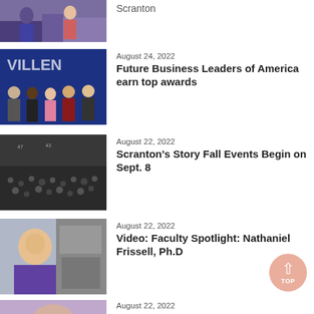[Figure (photo): Partial photo at top showing two people on stairs, one in purple jacket]
Scranton
[Figure (photo): Group of five students standing in front of a blue backdrop with FBLA branding]
August 24, 2022
Future Business Leaders of America earn top awards
[Figure (photo): Black and white historical photo of a large crowd]
August 22, 2022
Scranton's Story Fall Events Begin on Sept. 8
[Figure (photo): Young man in purple shirt in a lab setting, faculty spotlight photo]
August 22, 2022
Video: Faculty Spotlight: Nathaniel Frissell, Ph.D
[Figure (photo): Partial photo at bottom showing a woman, only top visible]
August 22, 2022